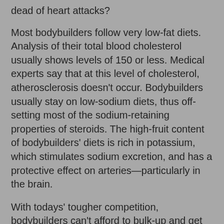dead of heart attacks?
Most bodybuilders follow very low-fat diets. Analysis of their total blood cholesterol usually shows levels of 150 or less. Medical experts say that at this level of cholesterol, atherosclerosis doesn't occur. Bodybuilders usually stay on low-sodium diets, thus off-setting most of the sodium-retaining properties of steroids. The high-fruit content of bodybuilders' diets is rich in potassium, which stimulates sodium excretion, and has a protective effect on arteries—particularly in the brain.
With todays' tougher competition, bodybuilders can't afford to bulk-up and get fat in the off-season. They maintain a low level of bodyfat year-round through a diet that emphasizes high complex carbohydrates and low-fats. A lower level of bodyfat usually comes with lower cholesterol levels and reduced blood pressure.
Bodybuilders use aerobics to keep bodyfat levels low. Aerobics also strengthen the heart, and may increase cardiac reserve, which protects against fatal heart attacks.